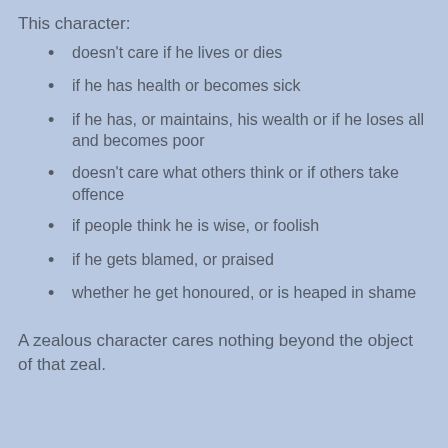This character:
doesn't care if he lives or dies
if he has health or becomes sick
if he has, or maintains, his wealth or if he loses all and becomes poor
doesn't care what others think or if others take offence
if people think he is wise, or foolish
if he gets blamed, or praised
whether he get honoured, or is heaped in shame
A zealous character cares nothing beyond the object of that zeal.